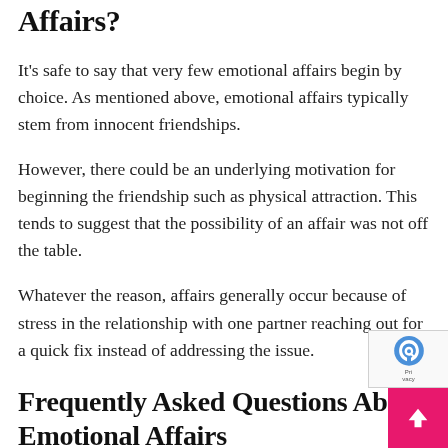Affairs?
It's safe to say that very few emotional affairs begin by choice. As mentioned above, emotional affairs typically stem from innocent friendships.
However, there could be an underlying motivation for beginning the friendship such as physical attraction. This tends to suggest that the possibility of an affair was not off the table.
Whatever the reason, affairs generally occur because of stress in the relationship with one partner reaching out for a quick fix instead of addressing the issue.
Frequently Asked Questions About Emotional Affairs